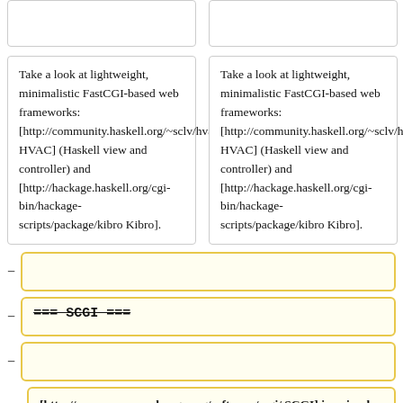Take a look at lightweight, minimalistic FastCGI-based web frameworks: [http://community.haskell.org/~sclv/hvac/ HVAC] (Haskell view and controller) and [http://hackage.haskell.org/cgi-bin/hackage-scripts/package/kibro Kibro].
Take a look at lightweight, minimalistic FastCGI-based web frameworks: [http://community.haskell.org/~sclv/hvac/ HVAC] (Haskell view and controller) and [http://hackage.haskell.org/cgi-bin/hackage-scripts/package/kibro Kibro].
=== SCGI ===
[http://www.mems-exchange.org/software/scgi/ SCGI] is a simpler alternative to FastCGI for writing CGI-